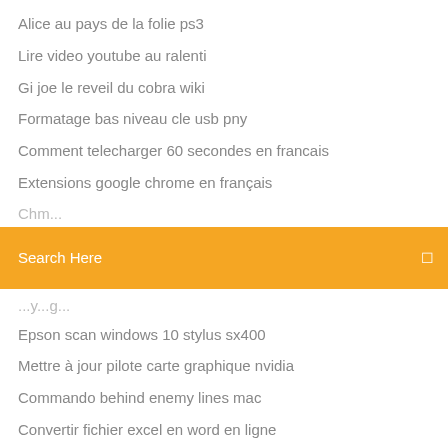Alice au pays de la folie ps3
Lire video youtube au ralenti
Gi joe le reveil du cobra wiki
Formatage bas niveau cle usb pny
Comment telecharger 60 secondes en francais
Extensions google chrome en français
[Figure (screenshot): Orange/yellow search bar with 'Search Here' placeholder text and a small icon on the right]
Epson scan windows 10 stylus sx400
Mettre à jour pilote carte graphique nvidia
Commando behind enemy lines mac
Convertir fichier excel en word en ligne
Telecharger les sims 4 avec winrar
Telecharger pack office 2020 gratuit en francais
Jeux ipad pour jouer a deux gratuit
Avast secure browser payant
Code sims 2 sur mac